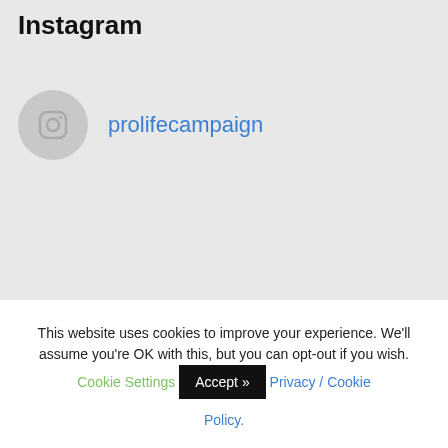Instagram
prolifecampaign
This website uses cookies to improve your experience. We'll assume you're OK with this, but you can opt-out if you wish. Cookie Settings Accept >> Privacy / Cookie Policy.